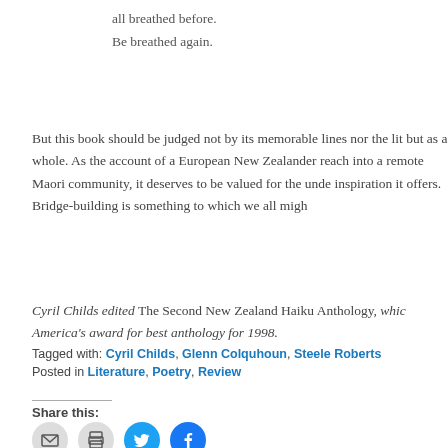all breathed before.
Be breathed again.
But this book should be judged not by its memorable lines nor the lit but as a whole. As the account of a European New Zealander reach into a remote Maori community, it deserves to be valued for the unde inspiration it offers. Bridge-building is something to which we all migh
Cyril Childs edited The Second New Zealand Haiku Anthology, whic America's award for best anthology for 1998.
Share this:
Tagged with: Cyril Childs, Glenn Colquhoun, Steele Roberts
Posted in Literature, Poetry, Review